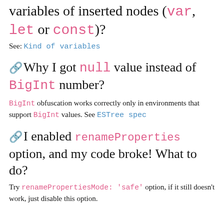variables of inserted nodes (var, let or const)?
See: Kind of variables
Why I got null value instead of BigInt number?
BigInt obfuscation works correctly only in environments that support BigInt values. See ESTree spec
I enabled renameProperties option, and my code broke! What to do?
Try renamePropertiesMode: 'safe' option, if it still doesn't work, just disable this option.